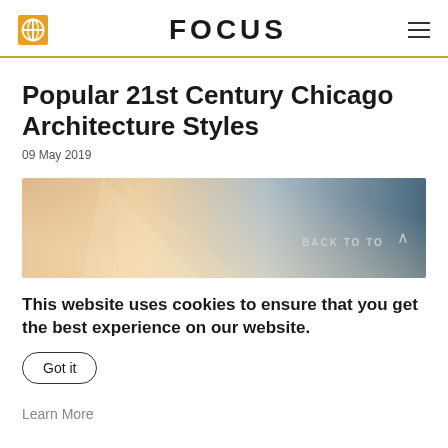FOCUS
Popular 21st Century Chicago Architecture Styles
09 May 2019
[Figure (photo): Hero image showing a sky gradient from warm orange-tan on the left to cool blue-grey on the right, with a 'BACK TO TOP' label and upward caret visible in the lower right corner.]
This website uses cookies to ensure that you get the best experience on our website.
Got it
Learn More